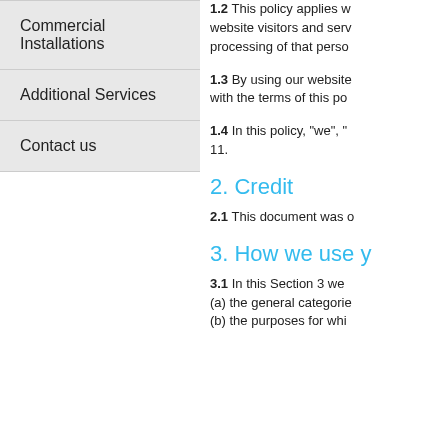Commercial Installations
Additional Services
Contact us
1.2 This policy applies w... website visitors and serv... processing of that perso...
1.3 By using our website... with the terms of this po...
1.4 In this policy, "we", "... 11.
2. Credit
2.1 This document was o...
3. How we use y...
3.1 In this Section 3 we... (a) the general categorie... (b) the purposes for whi...